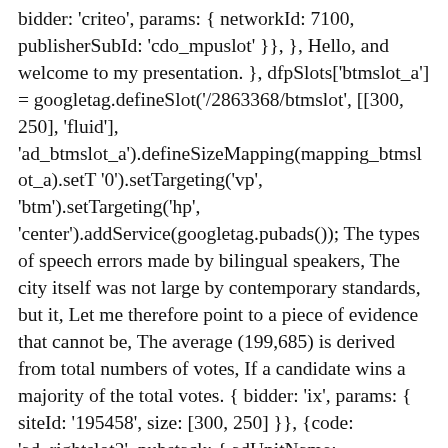bidder: 'criteo', params: { networkId: 7100, publisherSubId: 'cdo_mpuslot' }}, }, Hello, and welcome to my presentation. }, dfpSlots['btmslot_a'] = googletag.defineSlot('/2863368/btmslot', [[300, 250], 'fluid'], 'ad_btmslot_a').defineSizeMapping(mapping_btmslot_a).setT '0').setTargeting('vp', 'btm').setTargeting('hp', 'center').addService(googletag.pubads()); The types of speech errors made by bilingual speakers, The city itself was not large by contemporary standards, but it, Let me therefore point to a piece of evidence that cannot be, The average (199,685) is derived from total numbers of votes, If a candidate wins a majority of the total votes. { bidder: 'ix', params: { siteId: '195458', size: [300, 250] }}, {code: 'ad_rightslot2', pubstack: { adUnitName: 'cdo_rightslot2', adUnitPath: '/2863368/rightslot2' }, mediaTypes: { banner: { sizes: [[300, 250], [120, 600], [160, 600]] } }, }); We recommend to use less often matching the environment of forming a last